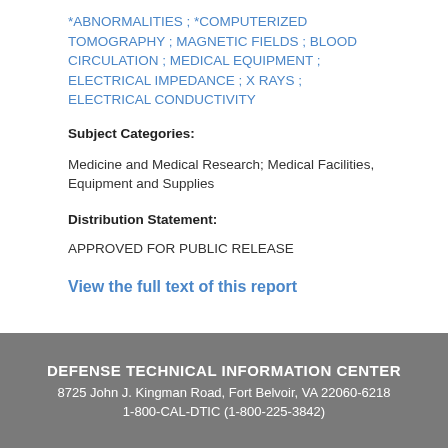*ABNORMALITIES ; *COMPUTERIZED TOMOGRAPHY ; MAGNETIC FIELDS ; BLOOD CIRCULATION ; MEDICAL EQUIPMENT ; ELECTRICAL IMPEDANCE ; X RAYS ; ELECTRICAL CONDUCTIVITY
Subject Categories:
Medicine and Medical Research; Medical Facilities, Equipment and Supplies
Distribution Statement:
APPROVED FOR PUBLIC RELEASE
View the full text of this report
DEFENSE TECHNICAL INFORMATION CENTER
8725 John J. Kingman Road, Fort Belvoir, VA 22060-6218
1-800-CAL-DTIC (1-800-225-3842)